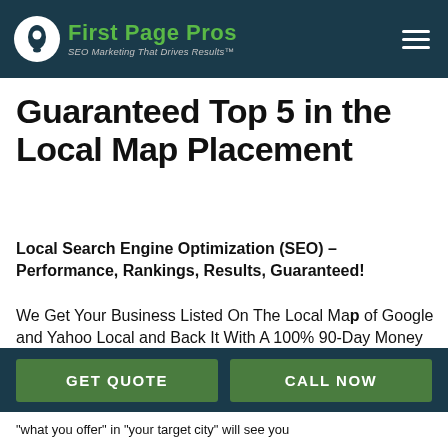[Figure (logo): First Page Pros logo with map pin icon and text 'First Page Pros SEO Marketing That Drives Results TM' on dark teal header background with hamburger menu icon]
Guaranteed Top 5 in the Local Map Placement
Local Search Engine Optimization (SEO) – Performance, Rankings, Results, Guaranteed!
We Get Your Business Listed On The Local Map of Google and Yahoo Local and Back It With A 100% 90-Day Money Back Guarantee for as little as $99
GET QUOTE
CALL NOW
"what you offer" in "your target city" will see you